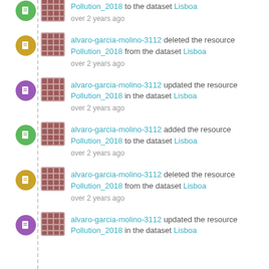Pollution_2018 to the dataset Lisboa
over 2 years ago
alvaro-garcia-molino-3112 deleted the resource Pollution_2018 from the dataset Lisboa
over 2 years ago
alvaro-garcia-molino-3112 updated the resource Pollution_2018 in the dataset Lisboa
over 2 years ago
alvaro-garcia-molino-3112 added the resource Pollution_2018 to the dataset Lisboa
over 2 years ago
alvaro-garcia-molino-3112 deleted the resource Pollution_2018 from the dataset Lisboa
over 2 years ago
alvaro-garcia-molino-3112 updated the resource Pollution_2018 in the dataset Lisboa